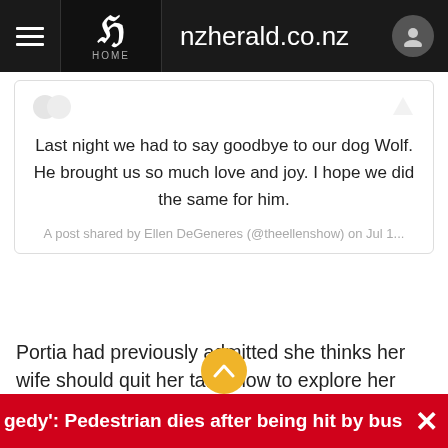nzherald.co.nz
Last night we had to say goodbye to our dog Wolf. He brought us so much love and joy. I hope we did the same for him.
A post shared by Ellen DeGeneres (@theellenshow) on Jul 1...
Portia had previously admitted she thinks her wife should quit her talk show to explore her "creativity" elsewhere.
She said: "I just think she's such a brilliant actress and stand-up that it doesn't have to be this talk show for her creativity. There are...
gedy': Pedestrian dies after being hit by bus in Pukekohe